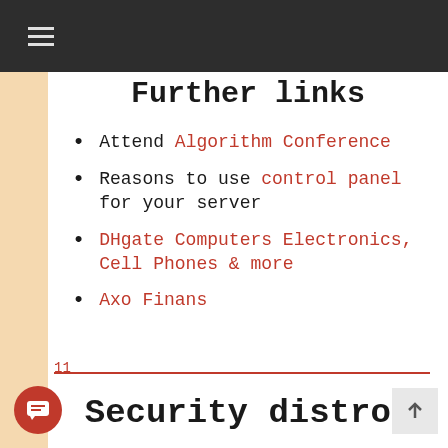Further links
Attend Algorithm Conference
Reasons to use control panel for your server
DHgate Computers Electronics, Cell Phones & more
Axo Finans
11
Security distros